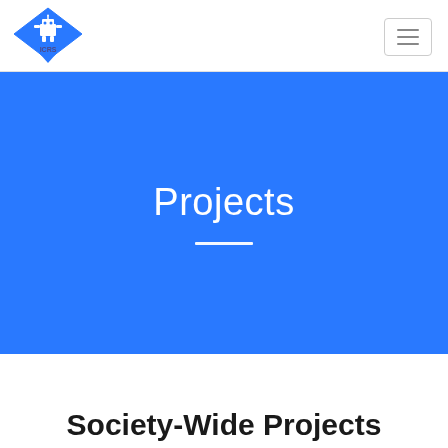[Figure (logo): ICRS logo: blue diamond shape with a robot icon and ICRS text]
Projects
Society-Wide Projects